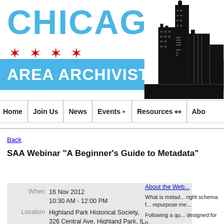[Figure (logo): Chicago Area Archivists website header with 'CHICAGO' text in blue, red six-pointed stars, blue banner reading 'AREA ARCHIVISTS', and a silhouette skyline of Chicago buildings on the right]
Home | Join Us | News | Events | Resources | About
Back
SAA Webinar "A Beginner's Guide to Metadata"
|  |  |
| --- | --- |
| When | 16 Nov 2012 |
|  | 10:30 AM - 12:00 PM |
| Location | Highland Park Historical Society, 326 Central Ave, Highland Park, IL 60035 |
About the Web...
What is metad... right schema f... repurpose me...
Following a qu... designed for p...